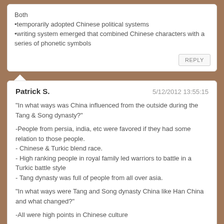Both
•temporarily adopted Chinese political systems
•writing system emerged that combined Chinese characters with a series of phonetic symbols
Patrick S.
5/12/2012 13:55:15
"In what ways was China influenced from the outside during the Tang & Song dynasty?"

-People from persia, india, etc were favored if they had some relation to those people.
- Chinese & Turkic blend race.
- High ranking people in royal family led warriors to battle in a Turkic battle style
- Tang dynasty was full of people from all over asia.

"In what ways were Tang and Song dynasty China like Han China and what changed?"

-All were high points in Chinese culture